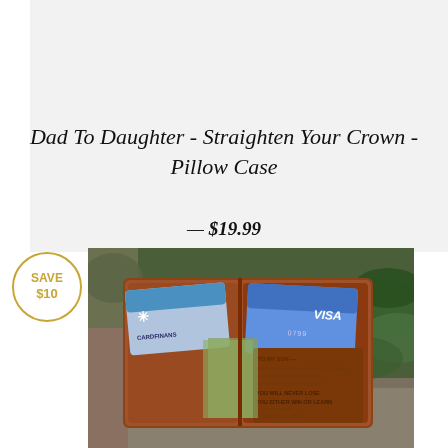[Figure (photo): Gray/white product image placeholder area at top]
Dad To Daughter - Straighten Your Crown - Pillow Case
— $19.99
SAVE $10
[Figure (photo): Photo of an open brown leather wallet with credit cards (VISA, CardFinans) and an engraved message reading 'TO MY SON - I WANT YOU TO BELIEVE DEEP IN YOUR HEART... YOU WILL NEVER LOSE YOU EITHER WIN OR LEARN... LOVE DAD', placed on a stone surface with green plant leaves in background.]